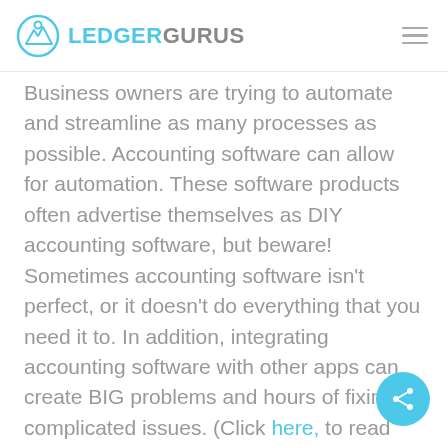LEDGERGURUS
Business owners are trying to automate and streamline as many processes as possible. Accounting software can allow for automation. These software products often advertise themselves as DIY accounting software, but beware! Sometimes accounting software isn't perfect, or it doesn't do everything that you need it to. In addition, integrating accounting software with other apps can create BIG problems and hours of fixing complicated issues. (Click here, to read about when to integrate QuickBooks Online with other apps.)